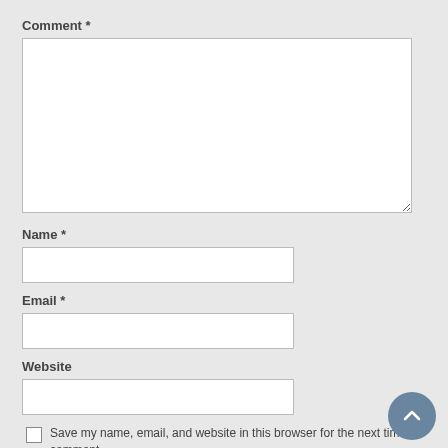Comment *
Name *
Email *
Website
Save my name, email, and website in this browser for the next time I comment.